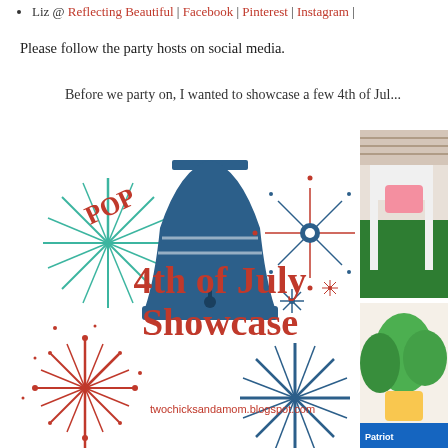Liz @ Reflecting Beautiful | Facebook | Pinterest | Instagram |
Please follow the party hosts on social media.
Before we party on, I wanted to showcase a few 4th of Jul...
[Figure (illustration): 4th of July Showcase decorative graphic with liberty bell, fireworks/sparkle bursts, POP text, red and blue star bursts, and the text '4th of July Showcase'. Website label: twochicksandamom.blogspot.com]
[Figure (photo): Photo of patriotic home decoration on right side - top portion showing green rug and white chair with pink cushion]
[Figure (photo): Photo on right side bottom - plant with yellow pot and patriotic decoration]